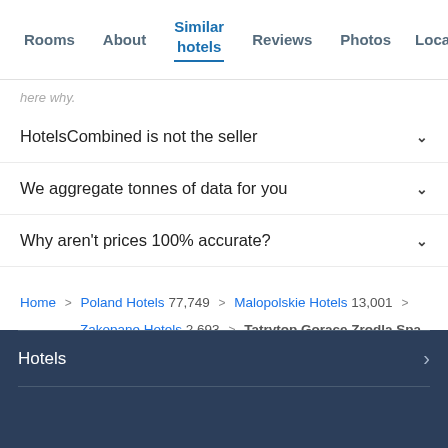Rooms | About | Similar hotels | Reviews | Photos | Loca...
here why.
HotelsCombined is not the seller
We aggregate tonnes of data for you
Why aren't prices 100% accurate?
Home > Poland Hotels 77,749 > Malopolskie Hotels 13,001 > Zakopane Hotels 2,693 > Tatrytop Gorace Zrodla Spa
Hotels